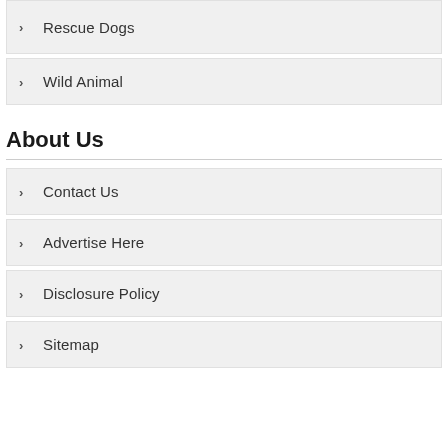> Rescue Dogs
> Wild Animal
About Us
> Contact Us
> Advertise Here
> Disclosure Policy
> Sitemap